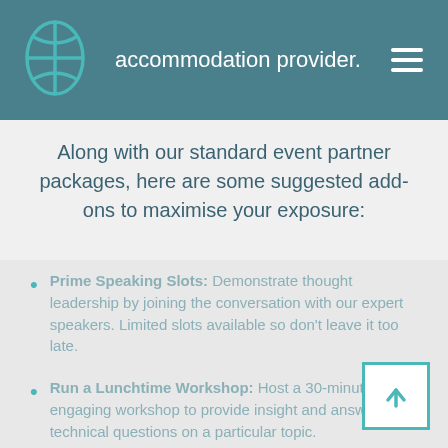accommodation provider.
Along with our standard event partner packages, here are some suggested add-ons to maximise your exposure:
Prime Speaking Slots: Demonstrate thought leadership by joining the conversation with our expert speakers. Limited slots available so don't leave it too late.
Run a Lunchtime Workshop: Host a 30-minute engaging workshop to provide insight and answer any technical questions on a particular topic.
Exhibition Booth and Product Demo: